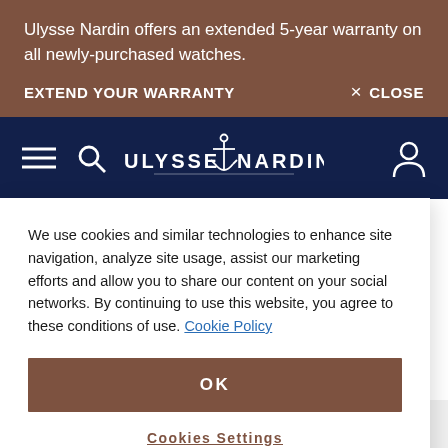Ulysse Nardin offers an extended 5-year warranty on all newly-purchased watches.
EXTEND YOUR WARRANTY
× CLOSE
[Figure (logo): Ulysse Nardin brand logo with anchor on dark navy navigation bar, with hamburger menu and search icons on left, account icon on right]
We use cookies and similar technologies to enhance site navigation, analyze site usage, assist our marketing efforts and allow you to share our content on your social networks. By continuing to use this website, you agree to these conditions of use. Cookie Policy
OK
Cookies Settings